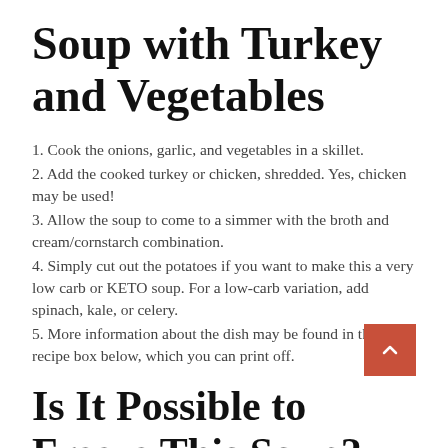Soup with Turkey and Vegetables
1. Cook the onions, garlic, and vegetables in a skillet.
2. Add the cooked turkey or chicken, shredded. Yes, chicken may be used!
3. Allow the soup to come to a simmer with the broth and cream/cornstarch combination.
4. Simply cut out the potatoes if you want to make this a very low carb or KETO soup. For a low-carb variation, add spinach, kale, or celery.
5. More information about the dish may be found in the recipe box below, which you can print off.
Is It Possible to Freeze This Soup?